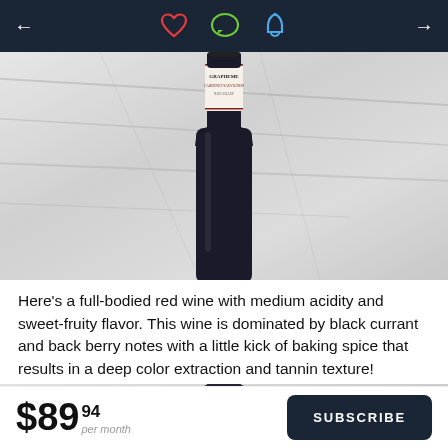← [heart icon] [chat icon] [bell icon] →
[Figure (photo): A dark wine bottle with a white label reading GRAPHEME CABERNET SAUVIGNON, standing on a white marble surface.]
Here's a full-bodied red wine with medium acidity and sweet-fruity flavor. This wine is dominated by black currant and back berry notes with a little kick of baking spice that results in a deep color extraction and tannin texture!
[Figure (photo): Top portion of a dark wine bottle on a marble surface, partially cropped.]
$89.94 per month  SUBSCRIBE